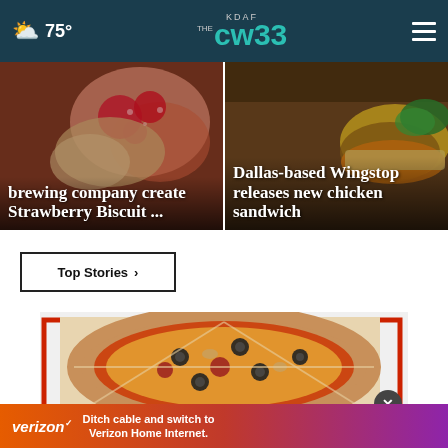KDAF CW 33 — 75°
brewing company create Strawberry Biscuit ...
Dallas-based Wingstop releases new chicken sandwich
Top Stories ›
[Figure (photo): Pizza advertisement showing slices of pizza with toppings including black olives, mushrooms, pepperoni with red border frame and a close button]
Ditch cable and switch to Verizon Home Internet.